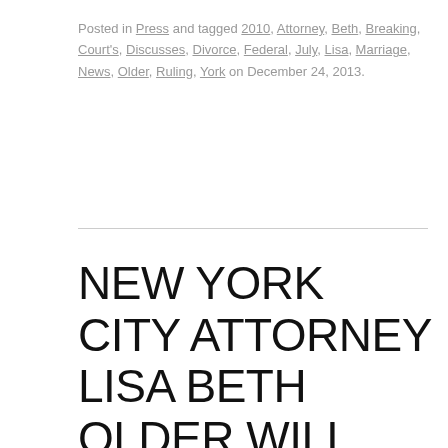Posted in Press and tagged 2010, Attorney, Beth, Breaking, Court's, Discusses, Divorce, Federal, July, Lisa, Marriage, News, Older, Ruling, York on December 24, 2013.
NEW YORK CITY ATTORNEY LISA BETH OLDER WILL OFFER TWO FREE DIVORCE SEMINARS ON NEW YORK